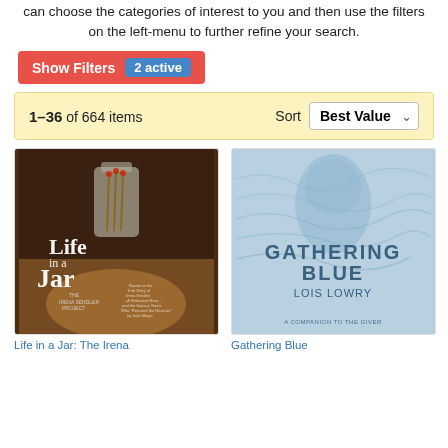can choose the categories of interest to you and then use the filters on the left-menu to further refine your search.
Show Filters  2 active
1-36 of 664 items  Sort  Best Value
[Figure (photo): Book cover of 'Life in a Jar: The Irena Sendler Project' by Jack Mayer — dark brown background with a hand holding a glass jar and wooden matches inside]
[Figure (photo): Book cover of 'Gathering Blue' by Lois Lowry — light blue background with a blurred face, text reads 'GATHERING BLUE LOIS LOWRY A COMPANION TO THE GIVER']
Life in a Jar: The Irena
Gathering Blue